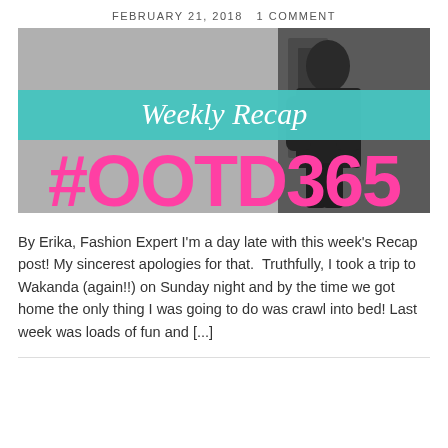FEBRUARY 21, 2018   1 COMMENT
[Figure (photo): Blog post header image for #OOTD365 Weekly Recap. Shows a woman in a dark outfit standing outside. Overlaid with a teal banner reading 'Weekly Recap' in white italic script, and large pink bold text '#OOTD365' below.]
By Erika, Fashion Expert I'm a day late with this week's Recap post! My sincerest apologies for that.  Truthfully, I took a trip to Wakanda (again!!) on Sunday night and by the time we got home the only thing I was going to do was crawl into bed! Last week was loads of fun and [...]